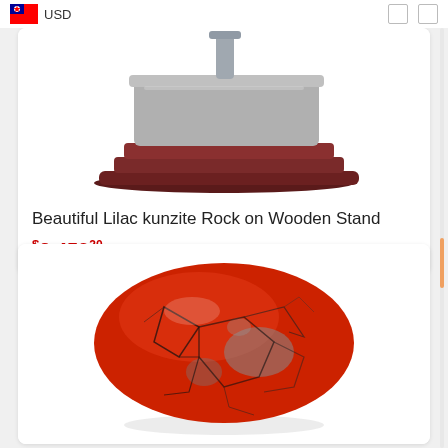USD
[Figure (photo): Wooden display stand with gray/silver layered support structure, viewed from the front, on a white background — top portion of a product listing for a Lilac kunzite Rock on Wooden Stand]
Beautiful Lilac kunzite Rock on Wooden Stand
$2,45920
[Figure (photo): An oval-shaped red jasper or similar red stone with dark gray crackle veining patterns across its surface, smooth and polished, on a white background]